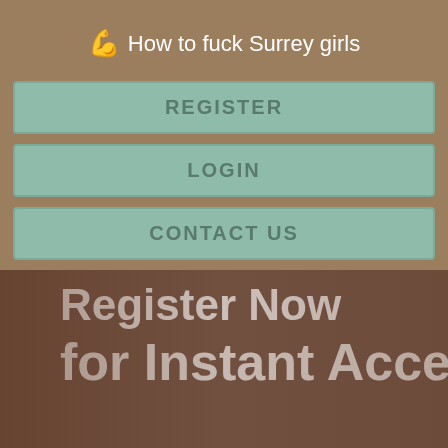💪 How to fuck Surrey girls
REGISTER
LOGIN
CONTACT US
[Figure (photo): Partial screenshot of a webpage with text 'Register Now for Instant Access' overlaid on a photo of a person]